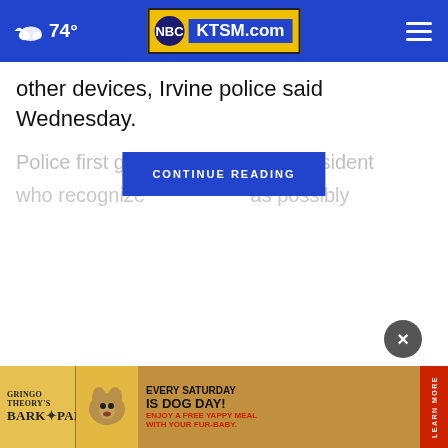74° KTSM.com
other devices, Irvine police said Wednesday.
Police first got a resident who recognize as possibly
CONTINUE READING
[Figure (infographic): Gringo Theory's Bark Park advertisement banner. Yellow and wood-textured ad reading: GRINGO THEORY'S BARK PARK - EVERY SATURDAY IS DOG DAY! ENJOY A FREE YAPPY MEAL WITH YOUR FUR-BABY. LEARN MORE button on right side.]